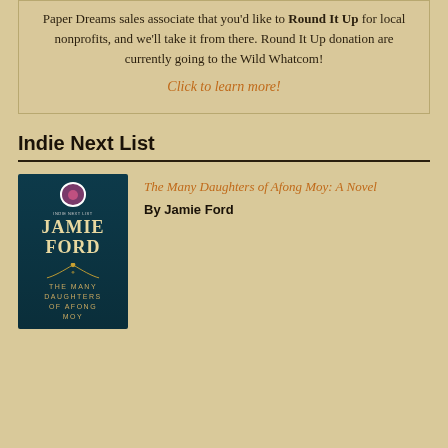Paper Dreams sales associate that you'd like to Round It Up for local nonprofits, and we'll take it from there. Round It Up donation are currently going to the Wild Whatcom!
Click to learn more!
Indie Next List
[Figure (illustration): Book cover of 'The Many Daughters of Afong Moy' by Jamie Ford, dark teal background with author name in large gold letters]
The Many Daughters of Afong Moy: A Novel
By Jamie Ford